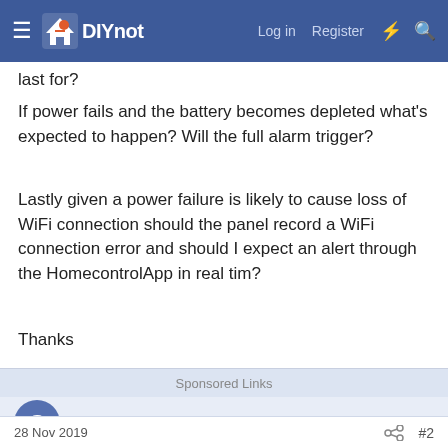DIYnot — Log in Register
last for?
If power fails and the battery becomes depleted what's expected to happen? Will the full alarm trigger?
Lastly given a power failure is likely to cause loss of WiFi connection should the panel record a WiFi connection error and should I expect an alert through the HomecontrolApp in real tim?
Thanks
Sponsored Links
Gibbies
28 Nov 2019  #2